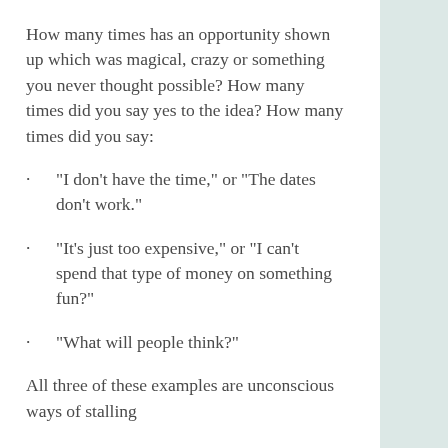How many times has an opportunity shown up which was magical, crazy or something you never thought possible? How many times did you say yes to the idea? How many times did you say:
"I don't have the time," or "The dates don't work."
“It’s just too expensive,” or “I can’t spend that type of money on something fun?”
“What will people think?”
All three of these examples are unconscious ways of stalling